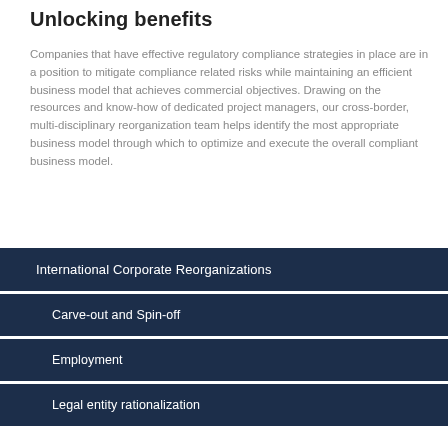Unlocking benefits
Companies that have effective regulatory compliance strategies in place are in a position to mitigate compliance related risks while maintaining an efficient business model that achieves commercial objectives. Drawing on the resources and know-how of dedicated project managers, our cross-border, multi-disciplinary reorganization team helps identify the most appropriate business model through which to optimize and execute the overall compliant business model.
International Corporate Reorganizations
Carve-out and Spin-off
Employment
Legal entity rationalization